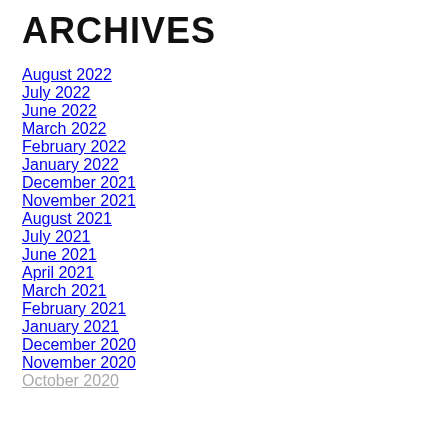ARCHIVES
August 2022
July 2022
June 2022
March 2022
February 2022
January 2022
December 2021
November 2021
August 2021
July 2021
June 2021
April 2021
March 2021
February 2021
January 2021
December 2020
November 2020
October 2020